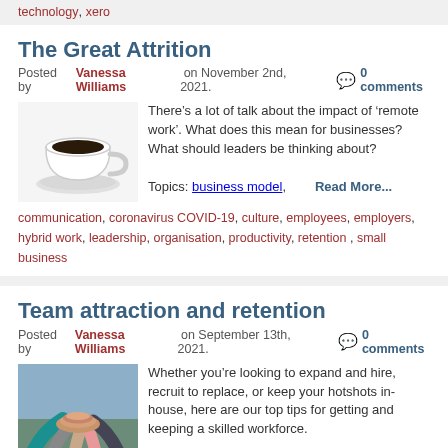technology, xero
The Great Attrition
Posted by Vanessa Williams on November 2nd, 2021.  0 comments
[Figure (photo): A white coffee cup with black coffee on a saucer, on a white background]
There’s a lot of talk about the impact of ‘remote work’. What does this mean for businesses? What should leaders be thinking about?
Topics: business model, communication, coronavirus COVID-19, culture, employees, employers, hybrid work, leadership, organisation, productivity, retention , small business   Read More...
Team attraction and retention
Posted by Vanessa Williams on September 13th, 2021.   0 comments
[Figure (photo): Group of people stacking hands together in a team gesture outdoors]
Whether you’re looking to expand and hire, recruit to replace, or keep your hotshots in-house, here are our top tips for getting and keeping a skilled workforce.
Topics: attraction, balance,   Read More...